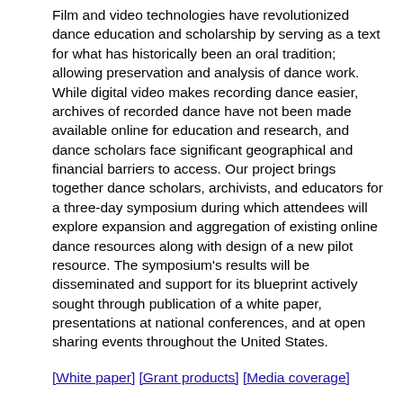Film and video technologies have revolutionized dance education and scholarship by serving as a text for what has historically been an oral tradition; allowing preservation and analysis of dance work. While digital video makes recording dance easier, archives of recorded dance have not been made available online for education and research, and dance scholars face significant geographical and financial barriers to access. Our project brings together dance scholars, archivists, and educators for a three-day symposium during which attendees will explore expansion and aggregation of existing online dance resources along with design of a new pilot resource. The symposium's results will be disseminated and support for its blueprint actively sought through publication of a white paper, presentations at national conferences, and at open sharing events throughout the United States.
[White paper] [Grant products] [Media coverage]